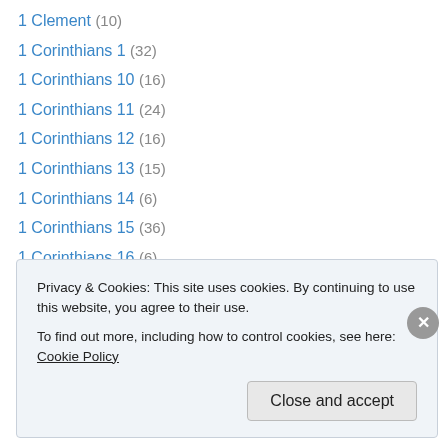1 Clement (10)
1 Corinthians 1 (32)
1 Corinthians 10 (16)
1 Corinthians 11 (24)
1 Corinthians 12 (16)
1 Corinthians 13 (15)
1 Corinthians 14 (6)
1 Corinthians 15 (36)
1 Corinthians 16 (6)
1 Corinthians 2 (12)
1 Corinthians 3 (15)
1 Corinthians 4 (13)
1 Corinthians 5 (11)
Privacy & Cookies: This site uses cookies. By continuing to use this website, you agree to their use. To find out more, including how to control cookies, see here: Cookie Policy
Close and accept